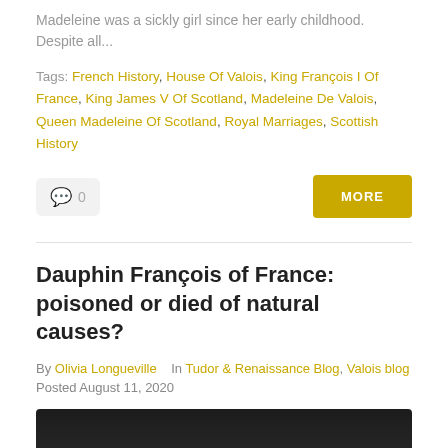Madeleine was a sickly girl since her early childhood. Despite all...
Tags: French History, House Of Valois, King François I Of France, King James V Of Scotland, Madeleine De Valois, Queen Madeleine Of Scotland, Royal Marriages, Scottish History
0
Dauphin François of France: poisoned or died of natural causes?
By Olivia Longueville   In Tudor & Renaissance Blog, Valois blog
Posted August 11, 2020
[Figure (photo): Dark thumbnail image for the Dauphin François article]